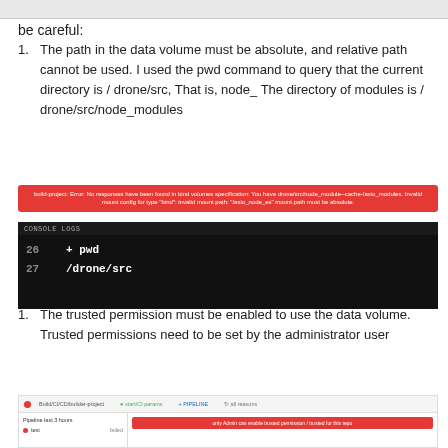be careful:
The path in the data volume must be absolute, and relative path cannot be used. I used the pwd command to query that the current directory is / drone/src, That is, node_ The directory of modules is / drone/src/node_modules
[Figure (screenshot): Red error banner showing build-project error message about invalid volume specification and invalid mount path for node_modules]
[Figure (screenshot): Console logs showing terminal output: line 26: + pwd, line 27: /drone/src]
The trusted permission must be enabled to use the data volume. Trusted permissions need to be set by the administrator user
[Figure (screenshot): UI screenshot showing a settings panel with a red error bar saying trusted permissions need to be enabled, with a left sidebar showing a red dot indicator]